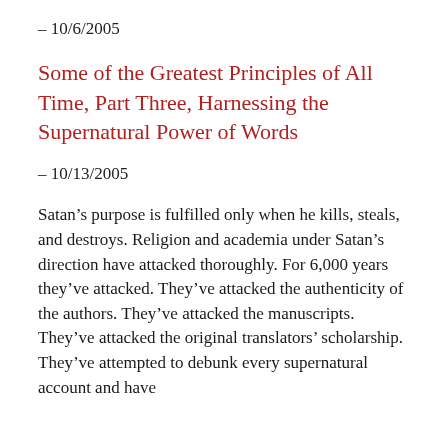– 10/6/2005
Some of the Greatest Principles of All Time, Part Three, Harnessing the Supernatural Power of Words
– 10/13/2005
Satan’s purpose is fulfilled only when he kills, steals, and destroys. Religion and academia under Satan’s direction have attacked thoroughly. For 6,000 years they’ve attacked. They’ve attacked the authenticity of the authors. They’ve attacked the manuscripts. They’ve attacked the original translators’ scholarship. They’ve attempted to debunk every supernatural account and have